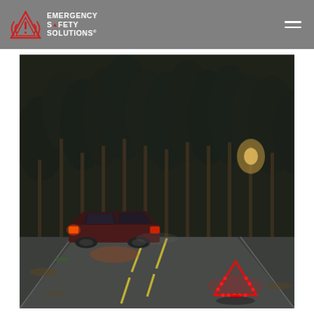[Figure (logo): Emergency Safety Solutions logo with triangle warning icon and text reading EMERGENCY SAFETY SOLUTIONS]
[Figure (photo): Nighttime road scene showing a dark red car pulled over on a two-lane road surrounded by bare winter trees, with a glowing red LED emergency triangle warning device placed on the road behind the vehicle]